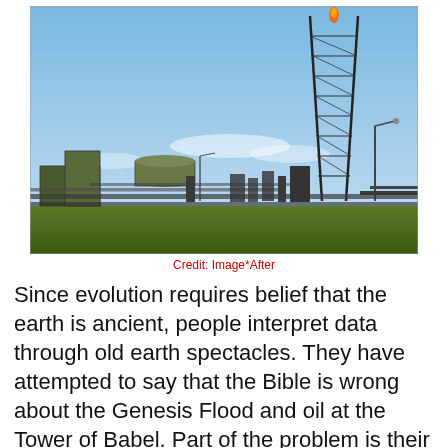[Figure (photo): Photograph of an industrial oil/gas facility with a tall flare stack structure against a blue sky, with pipelines, tanks, and plant equipment in the foreground and green grass at the bottom.]
Credit: Image*After
Since evolution requires belief that the earth is ancient, people interpret data through old earth spectacles. They have attempted to say that the Bible is wrong about the Genesis Flood and oil at the Tower of Babel. Part of the problem is their use of the word "pitch" in Genesis 6.14. (This is